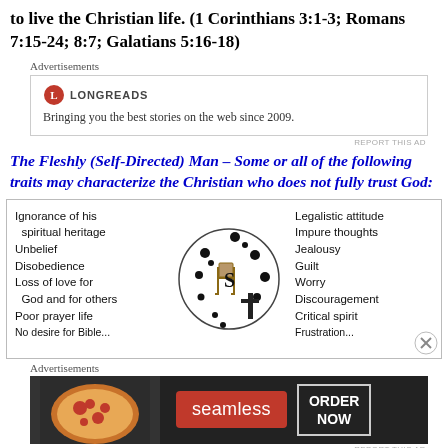to live the Christian life. (1 Corinthians 3:1-3; Romans 7:15-24; 8:7; Galatians 5:16-18)
Advertisements
[Figure (screenshot): Longreads advertisement box with logo and tagline: Bringing you the best stories on the web since 2009.]
REPORT THIS AD
The Fleshly (Self-Directed) Man – Some or all of the following traits may characterize the Christian who does not fully trust God:
[Figure (infographic): Diagram showing the fleshly/self-directed man with a circle containing a chair, S symbol, and cross. Left side lists: Ignorance of his spiritual heritage, Unbelief, Disobedience, Loss of love for God and for others, Poor prayer life, No desire for Bible... Right side lists: Legalistic attitude, Impure thoughts, Jealousy, Guilt, Worry, Discouragement, Critical spirit, Frustration...]
Advertisements
[Figure (screenshot): Seamless food delivery advertisement showing pizza image with Seamless logo and ORDER NOW button.]
REPORT THIS AD